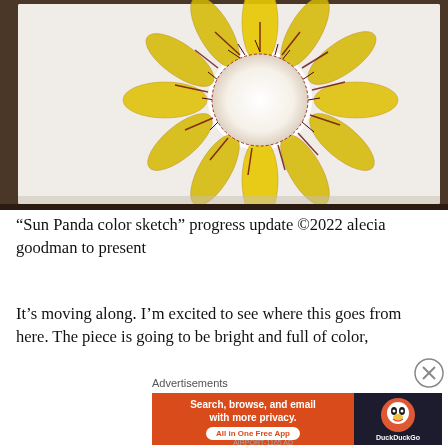[Figure (photo): A color sketch of a sunflower painted on white paper, with yellow petals and dark red/black details radiating from a white center. The paper sits on a wooden surface.]
“Sun Panda color sketch” progress update ©2022 alecia goodman to present
It’s moving along. I’m excited to see where this goes from here. The piece is going to be bright and full of color,
Advertisements
[Figure (screenshot): DuckDuckGo advertisement banner: orange left panel with text 'Search, browse, and email with more privacy. All in One Free App' and dark right panel with DuckDuckGo logo and name.]